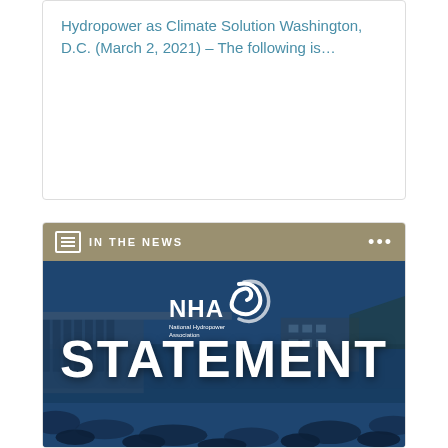Hydropower as Climate Solution Washington, D.C. (March 2, 2021) – The following is…
IN THE NEWS
[Figure (photo): NHA (National Hydropower Association) statement card showing a dam with blue tinted water and rocks in foreground, with the word STATEMENT in large white bold text overlaid]